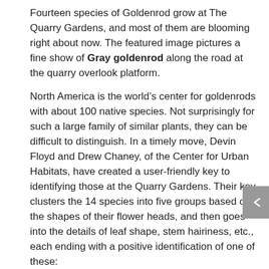Fourteen species of Goldenrod grow at The Quarry Gardens, and most of them are blooming right about now. The featured image pictures a fine show of Gray goldenrod along the road at the quarry overlook platform.
North America is the world’s center for goldenrods with about 100 native species. Not surprisingly for such a large family of similar plants, they can be difficult to distinguish. In a timely move, Devin Floyd and Drew Chaney, of the Center for Urban Habitats, have created a user-friendly key to identifying those at the Quarry Gardens. Their key clusters the 14 species into five groups based on the shapes of their flower heads, and then goes into the details of leaf shape, stem hairiness, etc., each ending with a positive identification of one of these:
Stiff goldenrod, Solidago rigida
Silverrod, Solidago bicolor